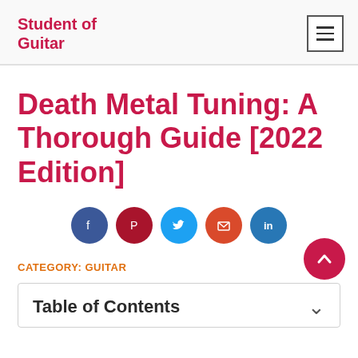Student of Guitar
Death Metal Tuning: A Thorough Guide [2022 Edition]
[Figure (infographic): Row of five social share buttons: Facebook (dark blue circle), Pinterest (dark red circle), Twitter (blue circle), Email (orange-red circle), LinkedIn (blue circle)]
CATEGORY: GUITAR
Table of Contents